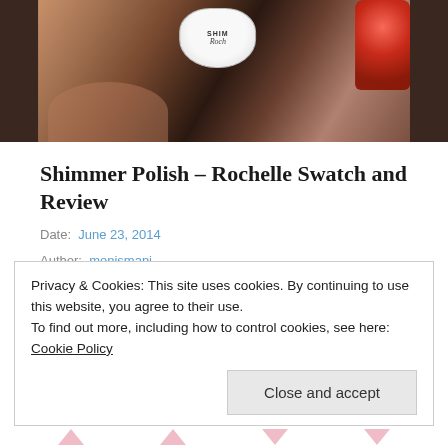[Figure (photo): Close-up photo of a hand holding a red glitter shimmer nail polish bottle with a white oval label showing 'Shimmer Polish - Rochelle' branding]
Shimmer Polish – Rochelle Swatch and Review
Date: June 23, 2014
Author: monismani
Tags: copper polish, rochelle, shimmer polish, swatch
Privacy & Cookies: This site uses cookies. By continuing to use this website, you agree to their use.
To find out more, including how to control cookies, see here: Cookie Policy
Close and accept